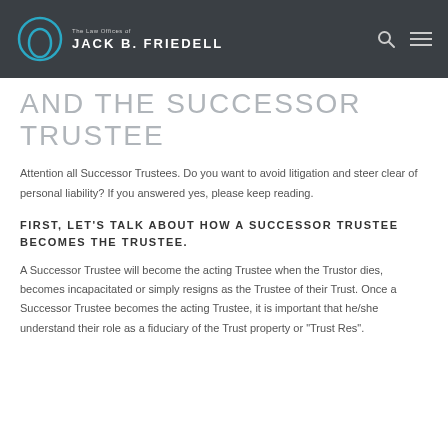The Law Offices of JACK B. FRIEDELL
AND THE SUCCESSOR TRUSTEE
Attention all Successor Trustees. Do you want to avoid litigation and steer clear of personal liability? If you answered yes, please keep reading.
FIRST, LET'S TALK ABOUT HOW A SUCCESSOR TRUSTEE BECOMES THE TRUSTEE.
A Successor Trustee will become the acting Trustee when the Trustor dies, becomes incapacitated or simply resigns as the Trustee of their Trust. Once a Successor Trustee becomes the acting Trustee, it is important that he/she understand their role as a fiduciary of the Trust property or "Trust Res".